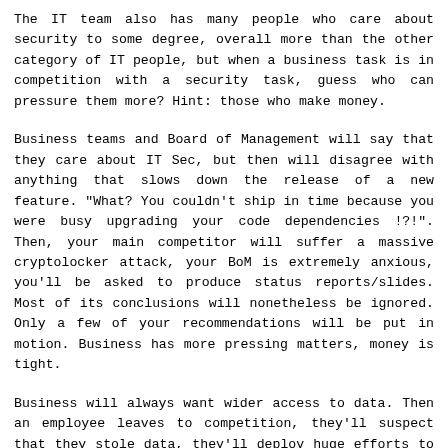The IT team also has many people who care about security to some degree, overall more than the other category of IT people, but when a business task is in competition with a security task, guess who can pressure them more? Hint: those who make money.
Business teams and Board of Management will say that they care about IT Sec, but then will disagree with anything that slows down the release of a new feature. "What? You couldn't ship in time because you were busy upgrading your code dependencies !?!". Then, your main competitor will suffer a massive cryptolocker attack, your BoM is extremely anxious, you'll be asked to produce status reports/slides. Most of its conclusions will nonetheless be ignored. Only a few of your recommendations will be put in motion. Business has more pressing matters, money is tight.
Business will always want wider access to data. Then an employee leaves to competition, they'll suspect that they stole data, they'll deploy huge efforts to assess whether this is the case or not, sucking much time from IT and IT Sec